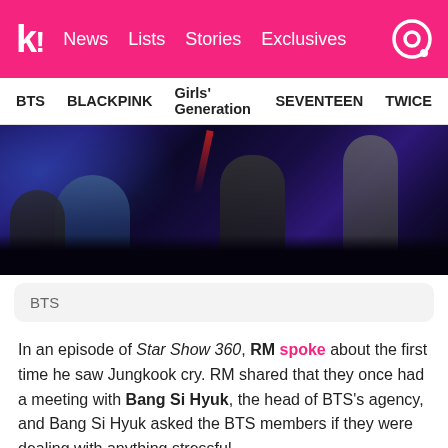k! News Lists Stories Exclusives
BTS  BLACKPINK  Girls' Generation  SEVENTEEN  TWICE
[Figure (photo): Concert or event photo showing performers on stage with crowd and purple/blue stage lighting, dark background with silhouettes]
BTS
In an episode of Star Show 360, RM spoke about the first time he saw Jungkook cry. RM shared that they once had a meeting with Bang Si Hyuk, the head of BTS's agency, and Bang Si Hyuk asked the BTS members if they were dealing with anything stressful.